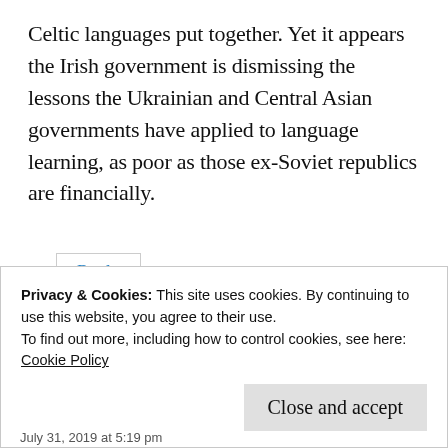Celtic languages put together. Yet it appears the Irish government is dismissing the lessons the Ukrainian and Central Asian governments have applied to language learning, as poor as those ex-Soviet republics are financially.
Reply
Privacy & Cookies: This site uses cookies. By continuing to use this website, you agree to their use.
To find out more, including how to control cookies, see here:
Cookie Policy
Close and accept
July 31, 2019 at 5:19 pm